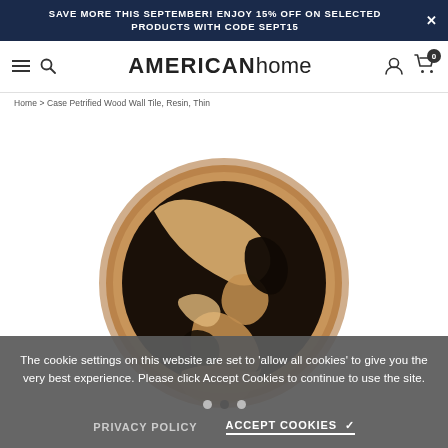SAVE MORE THIS SEPTEMBER! ENJOY 15% OFF ON SELECTED PRODUCTS WITH CODE SEPT15
AMERICANhome
Home > Case Petrified Wood Wall Tile, Resin, Thin
[Figure (photo): Round cross-section slice of petrified wood with resin fill, showing natural wood grain patterns and dark resin inlay against a white background]
The cookie settings on this website are set to 'allow all cookies' to give you the very best experience. Please click Accept Cookies to continue to use the site.
PRIVACY POLICY   ACCEPT COOKIES ✓